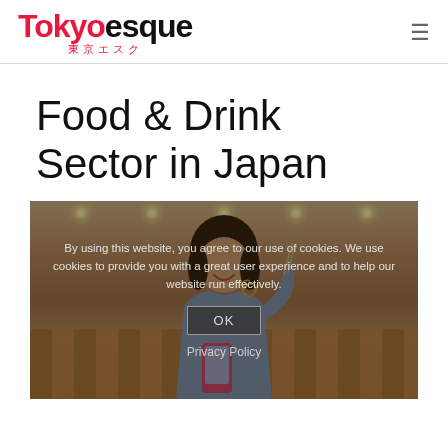Tokyoesque 東京エスク
Food & Drink Sector in Japan
[Figure (photo): Woman smiling and eating noodles with chopsticks while looking at a smartphone, seated in a restaurant booth with warm lighting. A cookie consent overlay is displayed over the image with text and an OK button.]
By using this website, you agree to our use of cookies. We use cookies to provide you with a great user experience and to help our website run effectively.
OK
Privacy Policy